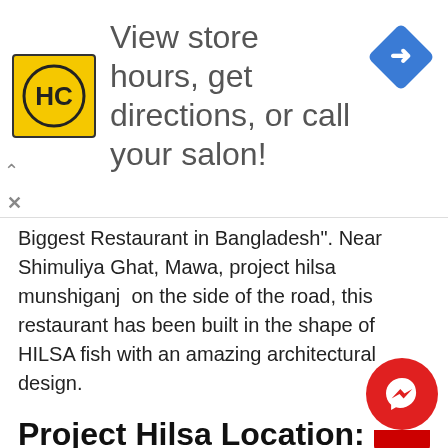[Figure (other): Advertisement banner with HC salon logo (yellow background with HC text), text 'View store hours, get directions, or call your salon!', and a blue navigation/directions diamond icon on the right]
Biggest Restaurant in Bangladesh". Near Shimuliya Ghat, Mawa, project hilsa munshiganj  on the side of the road, this restaurant has been built in the shape of HILSA fish with an amazing architectural design.
Project Hilsa Location:
The project hilsa restaurant location is Shimuliya Ghat ,Mawa ,Munshigonj.
Project hilsa restaurant menu:
The food price of project hilsa is quite high but if you think